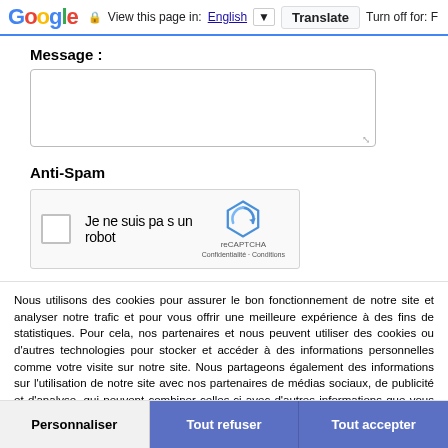Google  View this page in: English  Translate  Turn off for: F
Message :
[Figure (screenshot): Empty text area input box for message entry with resize handle]
Anti-Spam
[Figure (screenshot): reCAPTCHA widget showing checkbox, text 'Je ne suis pas un robot', reCAPTCHA logo, 'Confidentialité · Conditions' links]
Nous utilisons des cookies pour assurer le bon fonctionnement de notre site et analyser notre trafic et pour vous offrir une meilleure expérience à des fins de statistiques. Pour cela, nos partenaires et nous peuvent utiliser des cookies ou d'autres technologies pour stocker et accéder à des informations personnelles comme votre visite sur notre site. Nous partageons également des informations sur l'utilisation de notre site avec nos partenaires de médias sociaux, de publicité et d'analyse, qui peuvent combiner celles-ci avec d'autres informations que vous leur avez fournies ou qu'ils ont collectées lors de votre utilisation de leurs services. Vous pouvez retirer votre consentement, enregistré pour 6 mois, à l'aide du lien en pied de page « Gestion Cookies ». Voir notre politique de confidentialité : Politique de confidentialité
Personnaliser  Tout refuser  Tout accepter